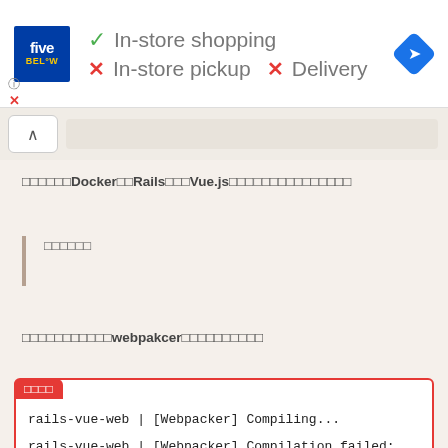[Figure (screenshot): Five Below store info banner showing In-store shopping (checkmark), In-store pickup (X), Delivery (X), with navigation diamond icon]
[Figure (screenshot): Browser back button and search/address bar]
□□□□□□Docker□□Rails□□□Vue.js□□□□□□□□□□□□□□□
□□□□□□
□□□□□□□□□□□webpakcer□□□□□□□□□□
□□□□
rails-vue-web | [Webpacker] Compiling...
rails-vue-web | [Webpacker] Compilation failed: